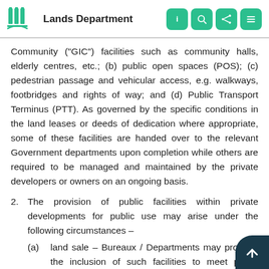Lands Department
Community ("GIC") facilities such as community halls, elderly centres, etc.; (b) public open spaces (POS); (c) pedestrian passage and vehicular access, e.g. walkways, footbridges and rights of way; and (d) Public Transport Terminus (PTT). As governed by the specific conditions in the land leases or deeds of dedication where appropriate, some of these facilities are handed over to the relevant Government departments upon completion while others are required to be managed and maintained by the private developers or owners on an ongoing basis.
2. The provision of public facilities within private developments for public use may arise under the following circumstances –
(a) land sale – Bureaux / Departments may propose the inclusion of such facilities to meet public needs
(b) land grant and private develop